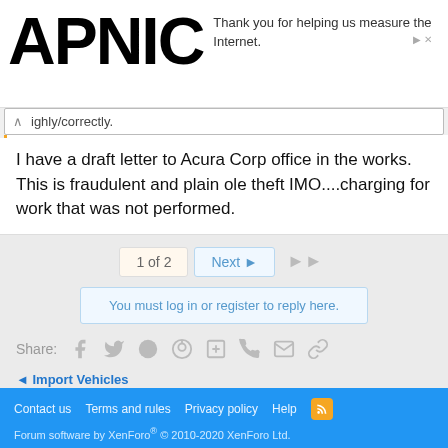[Figure (logo): APNIC logo in large bold black text]
Thank you for helping us measure the Internet.
ighly/correctly.
I have a draft letter to Acura Corp office in the works. This is fraudulent and plain ole theft IMO....charging for work that was not performed.
1 of 2  Next  ▶▶
You must log in or register to reply here.
Share:  f  𝕥  reddit  pinterest  tumblr  whatsapp  email  link
< Import Vehicles
Contact us  Terms and rules  Privacy policy  Help  [RSS] Forum software by XenForo® © 2010-2020 XenForo Ltd.